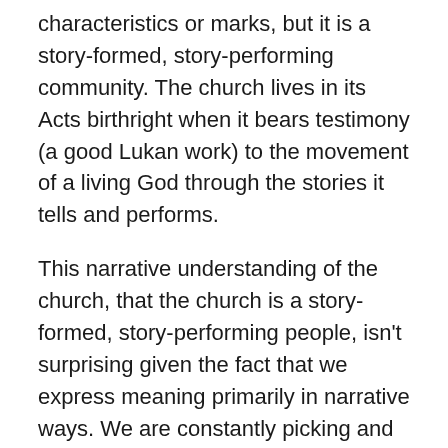characteristics or marks, but it is a story-formed, story-performing community. The church lives in its Acts birthright when it bears testimony (a good Lukan work) to the movement of a living God through the stories it tells and performs.
This narrative understanding of the church, that the church is a story-formed, story-performing people, isn't surprising given the fact that we express meaning primarily in narrative ways. We are constantly picking and choosing details from our life and placing them into a meaningful plot. And part of the way we pick and choose is by what others notice in our stories, or how others put little threads together in ways that we might otherwise miss. This telling and retelling is inescapably communal.
I've seen this dynamic at work in some pretty important